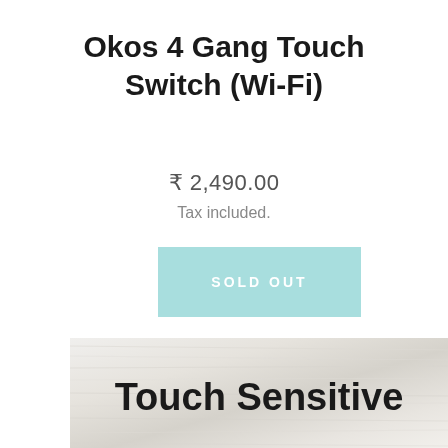Okos 4 Gang Touch Switch (Wi-Fi)
₹ 2,490.00
Tax included.
SOLD OUT
[Figure (photo): Brushed white wood texture panel with 'Touch Sensitive' text overlay]